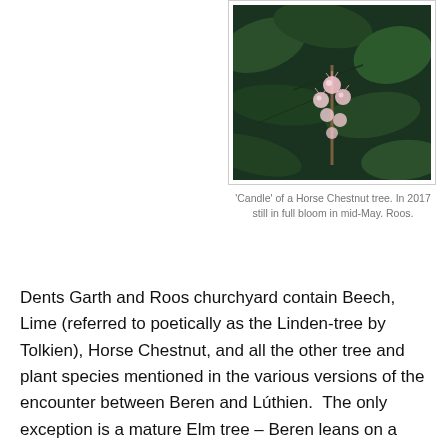[Figure (photo): Close-up photograph of a 'Candle' (flower spike) of a Horse Chestnut tree with pink and white blossoms against dark green leaves.]
'Candle' of a Horse Chestnut tree. In 2017 still in full bloom in mid-May. Roos.
Dents Garth and Roos churchyard contain Beech, Lime (referred to poetically as the Linden-tree by Tolkien), Horse Chestnut, and all the other tree and plant species mentioned in the various versions of the encounter between Beren and Lúthien.  The only exception is a mature Elm tree – Beren leans on a young Elm in the earliest surviving version of the text, but mature examples of this species were probably lost in the devastating effects of the Dutch Elm disease of the 1970s and 80s.  A substantial sapling, probably growing from a sucker of one of the original trees may be found just south of the church car park to this day.  However, in 2017 although